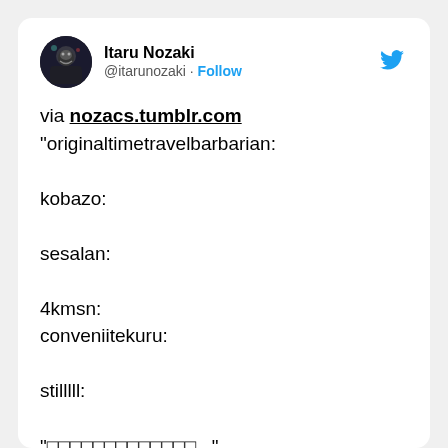[Figure (screenshot): Tweet screenshot from Itaru Nozaki (@itarunozaki) with Twitter bird logo. Tweet text: via nozacs.tumblr.com "originaltimetravelbarbarian: kobazo: sesalan: 4kmsn: conveniitekuru: stilllll: "[Japanese characters]..." ift.tt/3gFI2Q3]